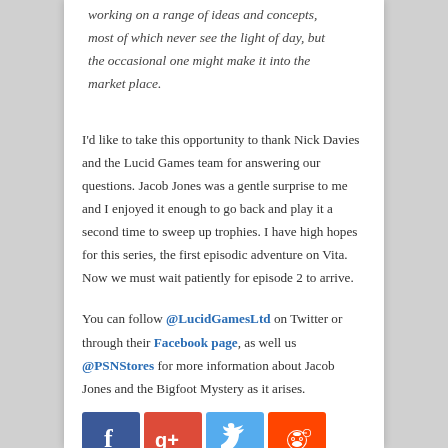working on a range of ideas and concepts, most of which never see the light of day, but the occasional one might make it into the market place.
I'd like to take this opportunity to thank Nick Davies and the Lucid Games team for answering our questions. Jacob Jones was a gentle surprise to me and I enjoyed it enough to go back and play it a second time to sweep up trophies. I have high hopes for this series, the first episodic adventure on Vita. Now we must wait patiently for episode 2 to arrive.
You can follow @LucidGamesLtd on Twitter or through their Facebook page, as well us @PSNStores for more information about Jacob Jones and the Bigfoot Mystery as it arises.
[Figure (other): Row of four social media icon buttons: Facebook (blue), Google+ (red), Twitter (light blue), Reddit (orange-red)]